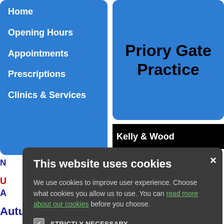Home
Opening Hours
Appointments
Prescriptions
Clinics & Services
Priory Gate Practice
Kelly & Wood
ge Reminders
No
U
A
er to receive informa ding appointments a er for this messaging
n.
Autumn COVID
[Figure (screenshot): Cookie consent modal overlay on a medical practice website. Modal has dark grey background with title 'This website uses cookies', body text about cookie choices with a green link 'read more about our cookies', four checkboxes (STRICTLY NECESSARY checked, PERFORMANCE unchecked, TARGETING unchecked, FUNCTIONALITY unchecked), and two buttons: green 'ACCEPT ALL' and outlined 'DECLINE ALL'. Close X button top right.]